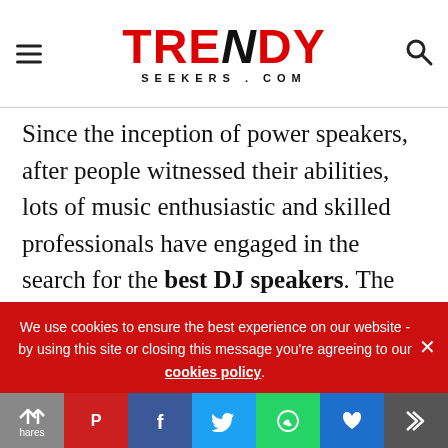TRENDY SEEKERS.COM
Since the inception of power speakers, after people witnessed their abilities, lots of music enthusiastic and skilled professionals have engaged in the search for the best DJ speakers. The reason for this craze is that you cannot get that distinct sound and quality you are looking for as you crank the volumes up with an average speaker. At one point, the
[Figure (screenshot): Advertisement banner partially visible]
We use cookies to ensure the best experience on our website - by using this site or closing this message you're agreeing to our cookies policy.
Share bar with social media icons: Pinterest, Facebook, Twitter, WhatsApp, Flipboard, Forward